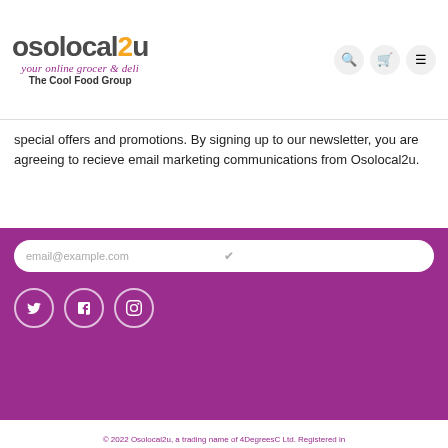[Figure (logo): Osolocal2u logo with tagline 'your online grocer & deli' and 'The Cool Food Group']
special offers and promotions. By signing up to our newsletter, you are agreeing to recieve email marketing communications from Osolocal2u.
email@example.com
[Figure (infographic): Social media icons: Twitter, Facebook, Instagram in white circles on purple background]
© 2022 Osolocal2u, a trading name of 4DegreesC Ltd. Registered in